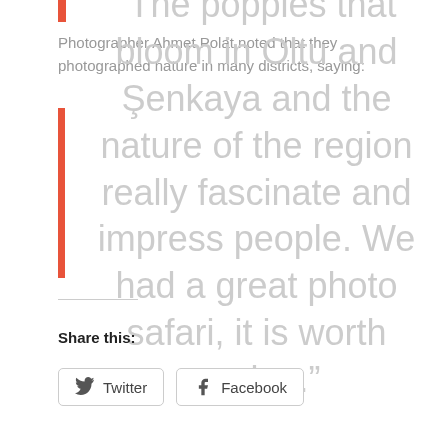Photographer Ahmet Polat noted that they photographed nature in many districts, saying:
“The poppies that bloom in Oltu and Şenkaya and the nature of the region really fascinate and impress people. We had a great photo safari, it is worth seeing.”
Share this:
Twitter
Facebook